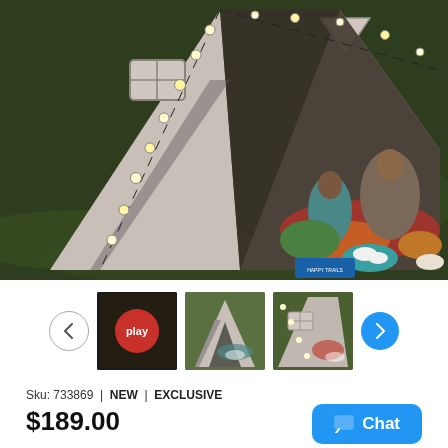[Figure (photo): Aerial view of two children sitting inside a gray canvas A-frame tent with string globe lights, on grass, with snacks and game laid out in front]
[Figure (photo): Thumbnail: video play button overlay on tent product image]
[Figure (photo): Thumbnail: front view of gray A-frame tent with items inside]
[Figure (photo): Thumbnail: side view of tent with string lights]
Sku: 733869  |  NEW  |  EXCLUSIVE
$189.00
Chat